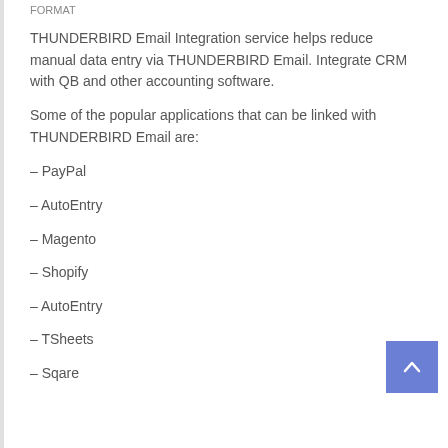FORMAT
THUNDERBIRD Email Integration service helps reduce manual data entry via THUNDERBIRD Email. Integrate CRM with QB and other accounting software.
Some of the popular applications that can be linked with THUNDERBIRD Email are:
– PayPal
– AutoEntry
– Magento
– Shopify
– AutoEntry
– TSheets
– Sqare